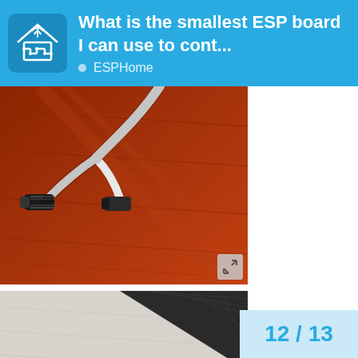What is the smallest ESP board I can use to cont... ESPHome
[Figure (photo): Photo of USB cable connectors on a wooden surface, with an expand/fullscreen icon in the bottom-right corner]
[Figure (photo): Photo showing close-up of a surface with textured material and a small black cylindrical component, with an up-arrow navigation button overlaid in the lower-left area]
12 / 13